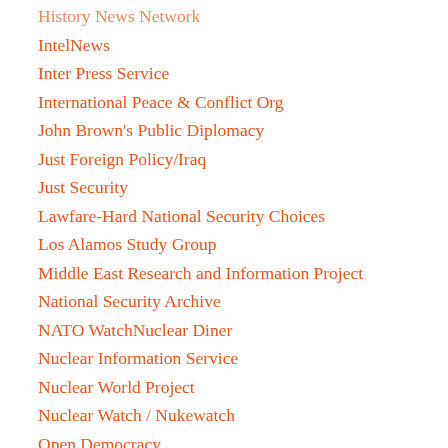History News Network
IntelNews
Inter Press Service
International Peace & Conflict Org
John Brown's Public Diplomacy
Just Foreign Policy/Iraq
Just Security
Lawfare-Hard National Security Choices
Los Alamos Study Group
Middle East Research and Information Project
National Security Archive
NATO WatchNuclear Diner
Nuclear Information Service
Nuclear World Project
Nuclear Watch / Nukewatch
Open Democracy
PeaceFare
Peace News/Progressive Review
People's Daily Online